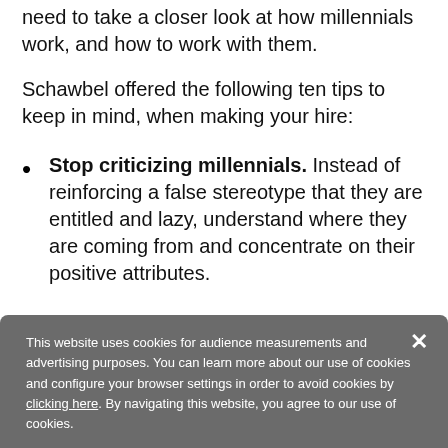need to take a closer look at how millennials work, and how to work with them.
Schawbel offered the following ten tips to keep in mind, when making your hire:
Stop criticizing millennials. Instead of reinforcing a false stereotype that they are entitled and lazy, understand where they are coming from and concentrate on their positive attributes.
This website uses cookies for audience measurements and advertising purposes. You can learn more about our use of cookies and configure your browser settings in order to avoid cookies by clicking here. By navigating this website, you agree to our use of cookies.